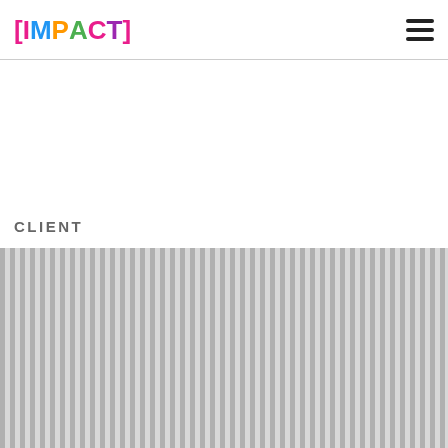[IMPACT] (logo with hamburger menu)
CLIENT
[Figure (other): Vertical striped pattern block in shades of light and dark grey, spanning the full width of the page below the CLIENT label.]